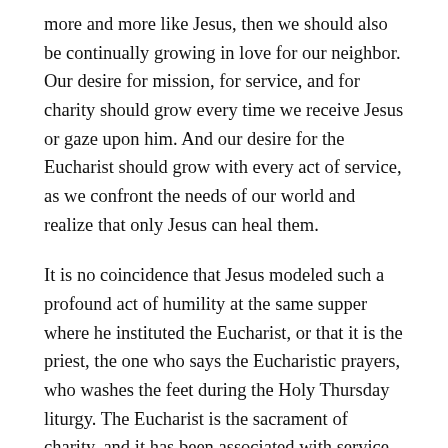more and more like Jesus, then we should also be continually growing in love for our neighbor. Our desire for mission, for service, and for charity should grow every time we receive Jesus or gaze upon him. And our desire for the Eucharist should grow with every act of service, as we confront the needs of our world and realize that only Jesus can heal them.
It is no coincidence that Jesus modeled such a profound act of humility at the same supper where he instituted the Eucharist, or that it is the priest, the one who says the Eucharistic prayers, who washes the feet during the Holy Thursday liturgy. The Eucharist is the sacrament of charity, and it has been associated with service since its very inception. Yes, of course the Eucharist brings with it incredible graces. Yes, of course the Eucharist allows us to grow impossibly close to our Lord. But what is the purpose of this nearness? Why are we given these graces?